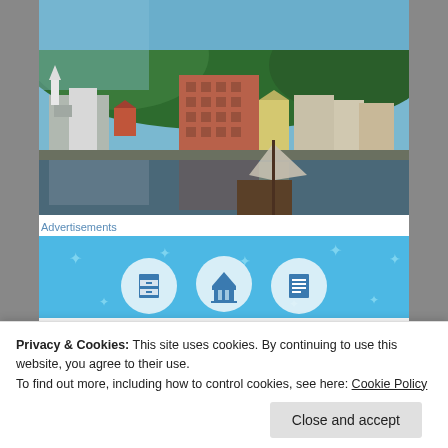[Figure (photo): Photograph of a historic waterfront town with a large multi-story brick warehouse building reflected in calm water, with a wooden sailing vessel moored in the foreground and tree-covered hills in the background.]
Advertisements
[Figure (illustration): Blue advertisement banner with icons of filing cabinet, classical building/courthouse, and document, with decorative star/cross patterns on the background.]
Privacy & Cookies: This site uses cookies. By continuing to use this website, you agree to their use.
To find out more, including how to control cookies, see here: Cookie Policy